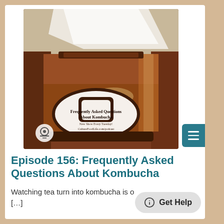[Figure (photo): A glass jar of kombucha with a cloth cover on top. The jar has a label that reads 'Frequently Asked Questions About Kombucha / New Show Every Tuesday! / CultureFoodLife.com/podcast' with a decorative jar icon. A podcast icon is visible at the bottom left of the image.]
Episode 156: Frequently Asked Questions About Kombucha
Watching tea turn into kombucha is o [...]